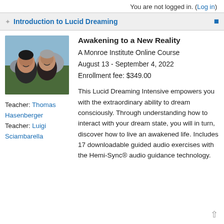You are not logged in. (Log in)
Introduction to Lucid Dreaming
[Figure (photo): Photo of two men smiling outdoors with rocky hillside background]
Teacher: Thomas Hasenberger
Teacher: Luigi Sciambarella
Awakening to a New Reality
A Monroe Institute Online Course
August 13 - September 4, 2022
Enrollment fee: $349.00
This Lucid Dreaming Intensive empowers you with the extraordinary ability to dream consciously. Through understanding how to interact with your dream state, you will in turn, discover how to live an awakened life. Includes 17 downloadable guided audio exercises with the Hemi-Sync® audio guidance technology.